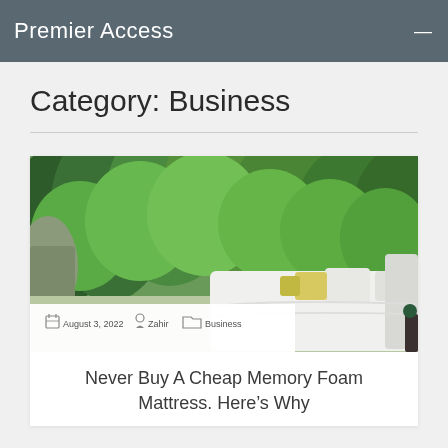Premier Access
Category: Business
[Figure (photo): Outdoor bed with white bedding and yellow/white pillows set against a lush green forested hillside background]
August 3, 2022  Zahir  Business
Never Buy A Cheap Memory Foam Mattress. Here’s Why